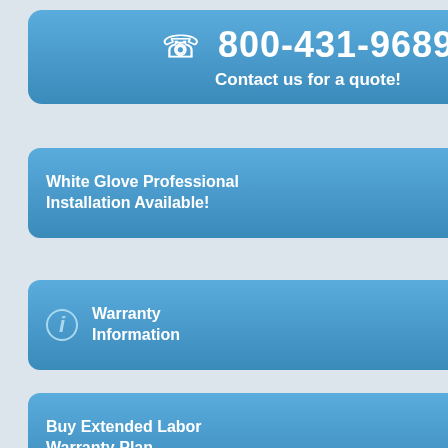800-431-9689 Contact us for a quote!
White Glove Professional Installation Available!
LEARN MORE
Warranty Information
LEARN MORE
Buy Extended Labor Warranty Plan
BUY NOW!
[Figure (photo): Fitness equipment product photo]
MORE INFO
MORE INFO
MORE INFO